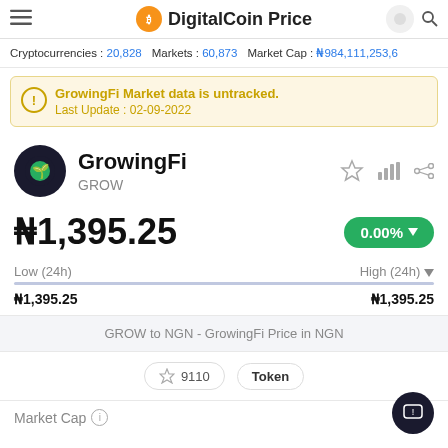DigitalCoin Price
Cryptocurrencies : 20,828   Markets : 60,873   Market Cap : ₦984,111,253,6
GrowingFi Market data is untracked. Last Update : 02-09-2022
GrowingFi GROW
₦1,395.25
0.00%
Low (24h)   ₦1,395.25     High (24h)   ₦1,395.25
GROW to NGN - GrowingFi Price in NGN
9110  Token
Market Cap